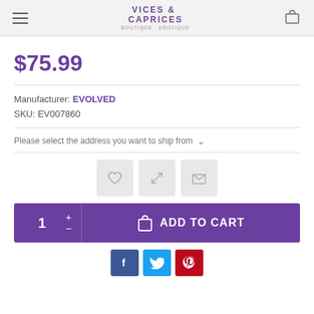Vices & Caprices
$75.99
Manufacturer: EVOLVED
SKU: EV007860
Please select the address you want to ship from
[Figure (infographic): Three icon buttons: heart (wishlist), arrows (compare/share), envelope (email)]
[Figure (infographic): Add to cart bar with quantity selector showing 1 and + - controls, plus ADD TO CART button with shopping bag icon]
[Figure (infographic): Social share buttons: Facebook (f), Twitter (bird), Pinterest (P)]